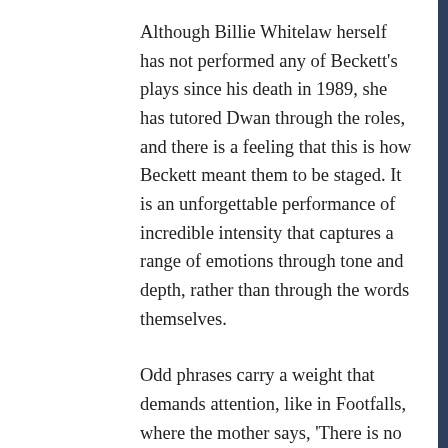Although Billie Whitelaw herself has not performed any of Beckett's plays since his death in 1989, she has tutored Dwan through the roles, and there is a feeling that this is how Beckett meant them to be staged. It is an unforgettable performance of incredible intensity that captures a range of emotions through tone and depth, rather than through the words themselves.
Odd phrases carry a weight that demands attention, like in Footfalls, where the mother says, 'There is no sleep so deep I would not hear you there.' But, in the main, there is not much meaning to be found in any of the dialogue.
If ever proof were needed that language often forms only a small part of our communication,